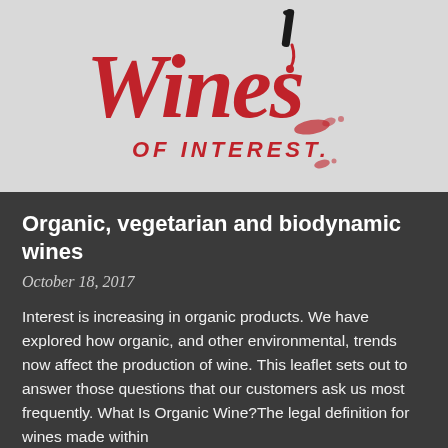[Figure (logo): Wines of Interest logo — stylized red handwritten 'Wines' text with a black wine bottle/dropper above it, and 'OF INTEREST.' in red capitals below, on a light grey background]
Organic, vegetarian and biodynamic wines
October 18, 2017
Interest is increasing in organic products. We have explored how organic, and other environmental, trends now affect the production of wine. This leaflet sets out to answer those questions that our customers ask us most frequently. What Is Organic Wine?The legal definition for wines made within